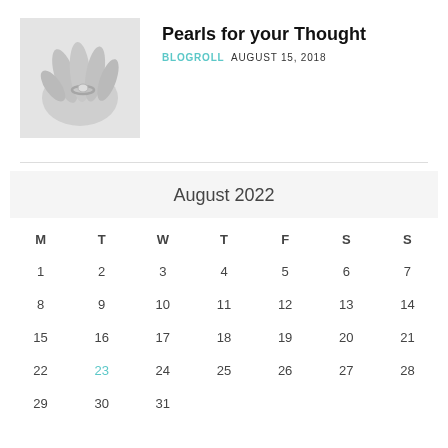[Figure (photo): Black and white photo of hands with a ring]
Pearls for your Thought
BLOGROLL  AUGUST 15, 2018
| M | T | W | T | F | S | S |
| --- | --- | --- | --- | --- | --- | --- |
| 1 | 2 | 3 | 4 | 5 | 6 | 7 |
| 8 | 9 | 10 | 11 | 12 | 13 | 14 |
| 15 | 16 | 17 | 18 | 19 | 20 | 21 |
| 22 | 23 | 24 | 25 | 26 | 27 | 28 |
| 29 | 30 | 31 |  |  |  |  |